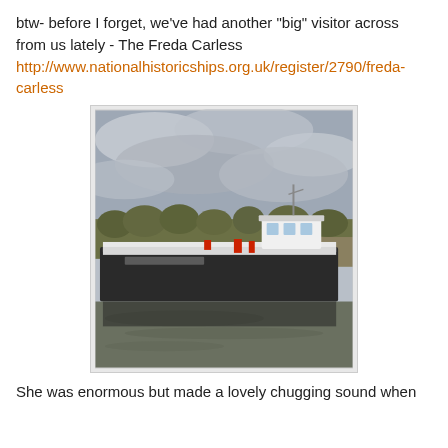btw- before I forget, we've had another "big" visitor across from us lately - The Freda Carless http://www.nationalhistoricships.org.uk/register/2790/freda-carless
[Figure (photo): A large canal barge or narrowboat named Freda Carless moored on a canal with overcast cloudy sky, trees in background, and murky brown water. The vessel is white and black with red accents and a wheelhouse at the rear.]
She was enormous but made a lovely chugging sound when